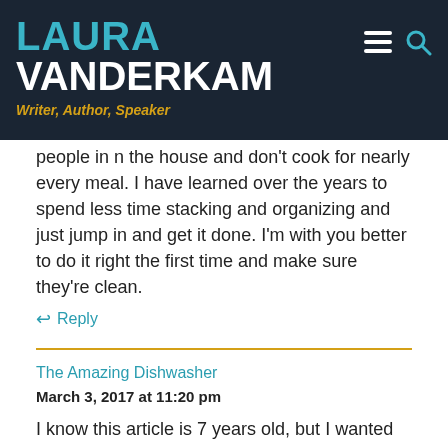LAURA VANDERKAM
Writer, Author, Speaker
people in n the house and don't cook for nearly every meal. I have learned over the years to spend less time stacking and organizing and just jump in and get it done. I'm with you better to do it right the first time and make sure they're clean.
↩ Reply
The Amazing Dishwasher
March 3, 2017 at 11:20 pm
I know this article is 7 years old, but I wanted to say